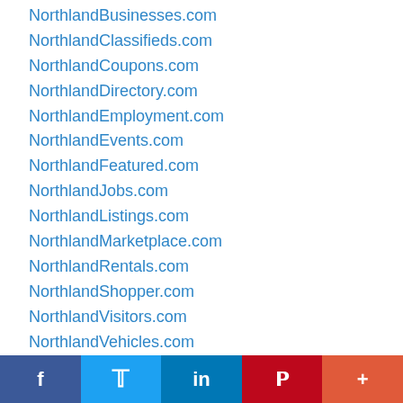NorthlandBusinesses.com
NorthlandClassifieds.com
NorthlandCoupons.com
NorthlandDirectory.com
NorthlandEmployment.com
NorthlandEvents.com
NorthlandFeatured.com
NorthlandJobs.com
NorthlandListings.com
NorthlandMarketplace.com
NorthlandRentals.com
NorthlandShopper.com
NorthlandVisitors.com
NorthlandVehicles.com
The Localzz Network
f  [twitter bird]  in  P  +